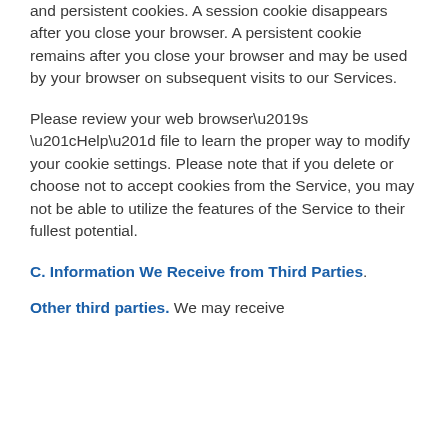and persistent cookies. A session cookie disappears after you close your browser. A persistent cookie remains after you close your browser and may be used by your browser on subsequent visits to our Services.
Please review your web browser’s “Help” file to learn the proper way to modify your cookie settings. Please note that if you delete or choose not to accept cookies from the Service, you may not be able to utilize the features of the Service to their fullest potential.
C. Information We Receive from Third Parties.
Other third parties. We may receive